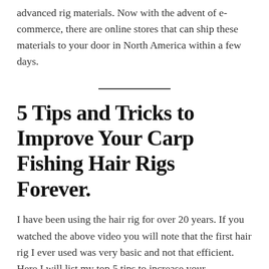America, I didn't have access to these more advanced rig materials. Now with the advent of e-commerce, there are online stores that can ship these materials to your door in North America within a few days.
5 Tips and Tricks to Improve Your Carp Fishing Hair Rigs Forever.
I have been using the hair rig for over 20 years. If you watched the above video you will note that the first hair rig I ever used was very basic and not that efficient. Here I will list my top 5 tips to increase your